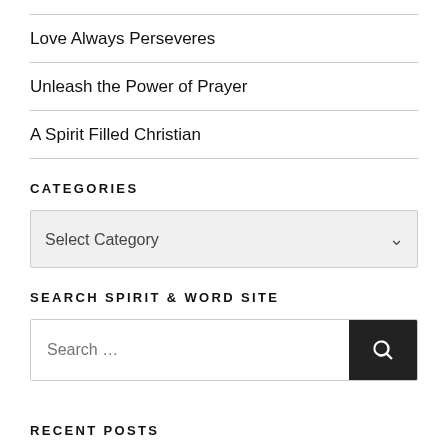Love Always Perseveres
Unleash the Power of Prayer
A Spirit Filled Christian
CATEGORIES
Select Category
SEARCH SPIRIT & WORD SITE
Search …
RECENT POSTS